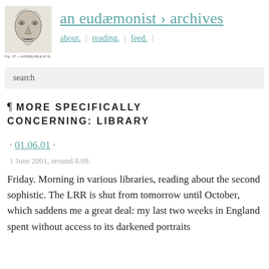[Figure (illustration): Black and white engraving of a man's face with a mustache, labeled 'Fig. 37.—AGREEABLE EYE.']
an eudæmonist › archives
about.  |  reading.  |  feed.  |
search
¶ MORE SPECIFICALLY CONCERNING: LIBRARY
· 01.06.01 ·
1 June 2001, around 8.09.
Friday. Morning in various libraries, reading about the second sophistic. The LRR is shut from tomorrow until October, which saddens me a great deal: my last two weeks in England spent without access to its darkened portraits